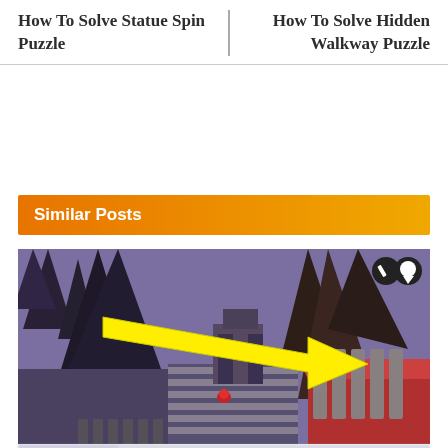How To Solve Statue Spin Puzzle
How To Solve Hidden Walkway Puzzle
Similar Posts
[Figure (screenshot): Isometric video game screenshot showing a stylized dark fantasy cityscape with purple/dark tones, rocky spires, cylindrical pillars on a red platform, a character in the center, and a large yellow arrow pointing to the right toward a building/gate area. Two small circular icons (pencil and bubble) appear in the top right corner.]
[Figure (screenshot): Partial/faded reflection or continuation of the same game screenshot at the bottom of the page.]